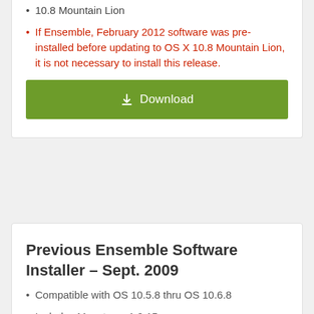10.8 Mountain Lion
If Ensemble, February 2012 software was pre-installed before updating to OS X 10.8 Mountain Lion, it is not necessary to install this release.
[Figure (other): Green Download button with download icon]
Previous Ensemble Software Installer – Sept. 2009
Compatible with OS 10.5.8 thru OS 10.6.8
Includes Maestro v. 1.9.15